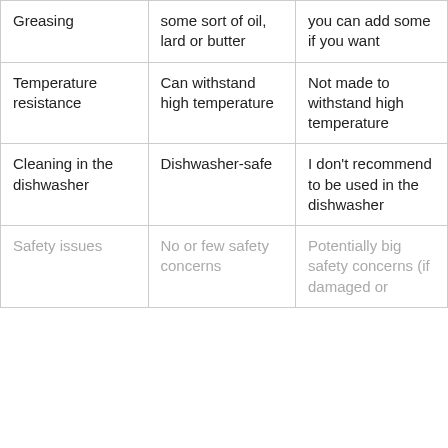| Greasing | some sort of oil, lard or butter | you can add some if you want |
| Temperature resistance | Can withstand high temperature | Not made to withstand high temperature |
| Cleaning in the dishwasher | Dishwasher-safe | I don't recommend to be used in the dishwasher |
| Safety issues | No or few safety concerns | Potentially big safety concerns (if damaged or |